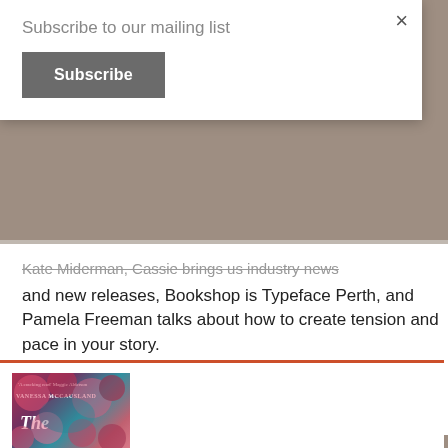Subscribe to our mailing list
Subscribe
Kate Miderman, Cassie brings us industry news and new releases, Bookshop is Typeface Perth, and Pamela Freeman talks about how to create tension and pace in your story.
Continue reading »
[Figure (photo): Book cover showing flowers, author Vanessa McCausland, partial title visible starting with 'The']